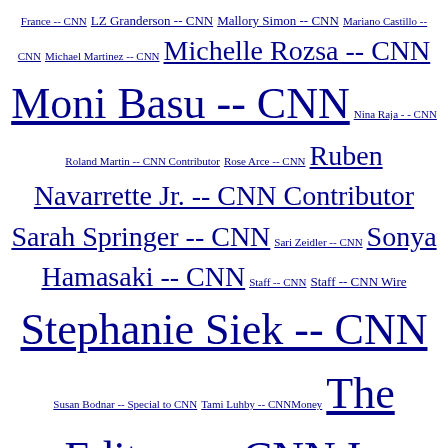France -- CNN LZ Granderson -- CNN Mallory Simon -- CNN Mariano Castillo -- CNN Michael Martinez -- CNN Michelle Rozsa -- CNN Moni Basu -- CNN Nina Raja - - CNN Roland Martin -- CNN Contributor Rose Arce -- CNN Ruben Navarrette Jr. -- CNN Contributor Sarah Springer -- CNN Sari Zeidler -- CNN Sonya Hamasaki -- CNN Staff -- CNN Staff -- CNN Wire Stephanie Siek -- CNN Susan Bodnar -- Special to CNN Tami Luhby -- CNNMoney The Editors -- CNN In America Tom Cohen -- CNN
iReport
Recent Posts
Evolving In America
Opinion: Half-baked apology is recipe for racial indigestion
Justices rule for adoptive couple in Native-American custody dispute
In tearful interview, Paula Deen slams 'horrible lies'
Supreme Court limits federal oversight of Voting Rights Act